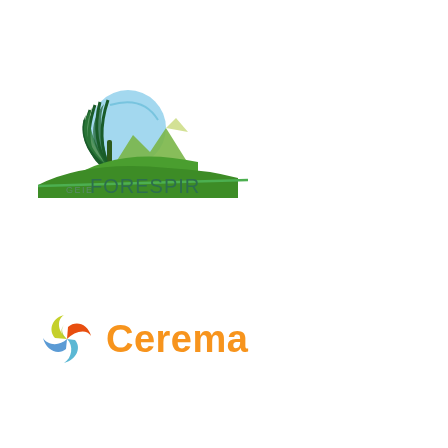[Figure (logo): GEIE FORESPIR logo with tree and mountain landscape graphic above the text]
[Figure (logo): Cerema logo with colorful pinwheel/compass icon and orange bold text 'Cerema']